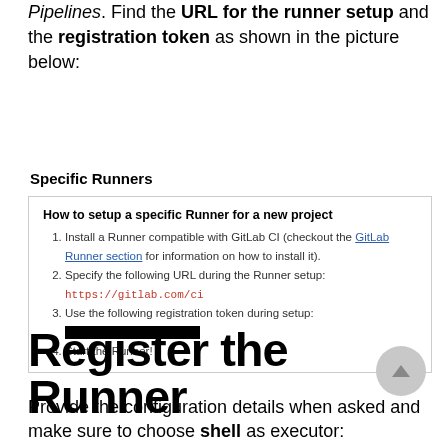Pipelines. Find the URL for the runner setup and the registration token as shown in the picture below:
Specific Runners
[Figure (screenshot): Screenshot of GitLab CI Specific Runners setup panel showing: 'How to setup a specific Runner for a new project' with 4 numbered steps: 1. Install a Runner compatible with GitLab CI (checkout the GitLab Runner section for information on how to install it). 2. Specify the following URL during the Runner setup: https://gitlab.com/ci 3. Use the following registration token during setup: [redacted black bar]. 4. Start the Runner!]
Register the Runner
Provide the configuration details when asked and make sure to choose shell as executor: